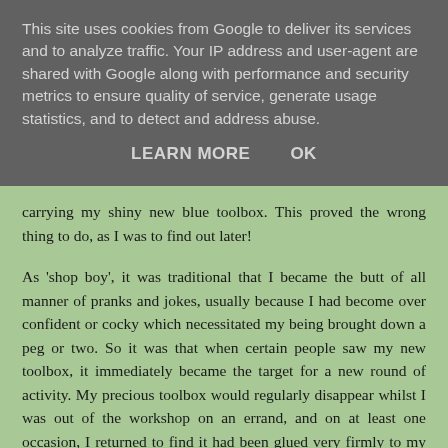This site uses cookies from Google to deliver its services and to analyze traffic. Your IP address and user-agent are shared with Google along with performance and security metrics to ensure quality of service, generate usage statistics, and to detect and address abuse.
LEARN MORE   OK
carrying my shiny new blue toolbox.  This proved the wrong thing to do, as I was to find out later!
As 'shop boy', it was traditional that I became the butt of all manner of pranks and jokes, usually because I had become over confident or cocky which necessitated my being brought down a peg or two. So it was that when certain people saw my new toolbox, it immediately became the target for a new round of activity. My precious toolbox would regularly disappear whilst I was out of the workshop on an errand, and on at least one occasion, I returned to find it had been glued very firmly to my bench. The threat, oft muted, which struck the greatest fear into my heart, was that I would come into work one morning, after others had worked overtime, to find my toolbox suspended high in the roof girders. To bring this threat to be, I would have had to be